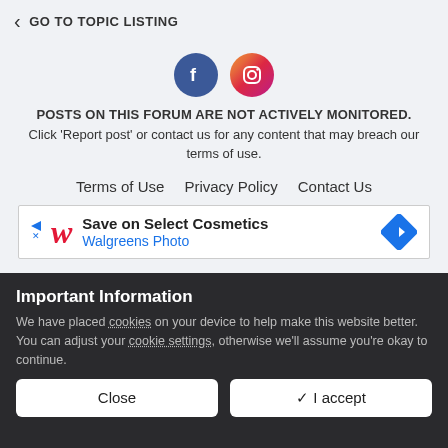GO TO TOPIC LISTING
[Figure (logo): Facebook and Instagram social media icons]
POSTS ON THIS FORUM ARE NOT ACTIVELY MONITORED. Click 'Report post' or contact us for any content that may breach our terms of use.
Terms of Use   Privacy Policy   Contact Us
[Figure (screenshot): Walgreens Photo advertisement banner: Save on Select Cosmetics]
Important Information
We have placed cookies on your device to help make this website better. You can adjust your cookie settings, otherwise we'll assume you're okay to continue.
Close   ✔ I accept